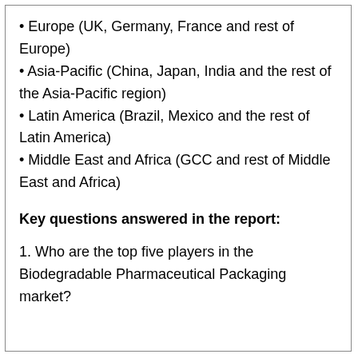• Europe (UK, Germany, France and rest of Europe)
• Asia-Pacific (China, Japan, India and the rest of the Asia-Pacific region)
• Latin America (Brazil, Mexico and the rest of Latin America)
• Middle East and Africa (GCC and rest of Middle East and Africa)
Key questions answered in the report:
1. Who are the top five players in the Biodegradable Pharmaceutical Packaging market?